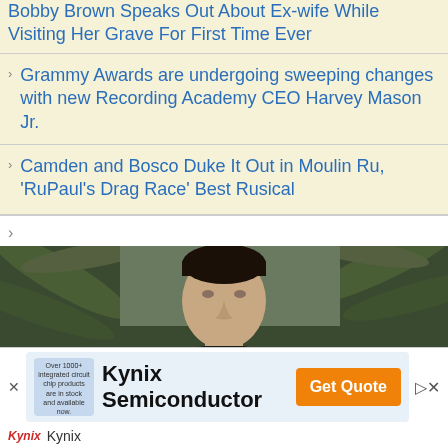Bobby Brown Speaks Out About Ex-wife While Visiting Her Grave For First Time Ever
Grammy Awards are undergoing sweeping changes with new Recording Academy CEO Harvey Mason Jr.
Camden and Bosco Duke It Out in Moulin Ru, 'RuPaul's Drag Race' Best Rusical
[Figure (photo): Man wearing a black 'OCCUPY' t-shirt standing outdoors with palm trees in background, likely Elon Musk]
Kynix Semiconductor
[Figure (other): Advertisement banner for Kynix Semiconductor with chip image, brand name, Get Quote button, and Kynix logo footer]